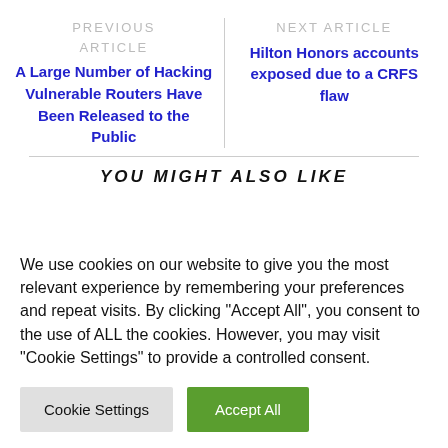PREVIOUS ARTICLE
A Large Number of Hacking Vulnerable Routers Have Been Released to the Public
NEXT ARTICLE
Hilton Honors accounts exposed due to a CRFS flaw
YOU MIGHT ALSO LIKE
We use cookies on our website to give you the most relevant experience by remembering your preferences and repeat visits. By clicking "Accept All", you consent to the use of ALL the cookies. However, you may visit "Cookie Settings" to provide a controlled consent.
Cookie Settings
Accept All